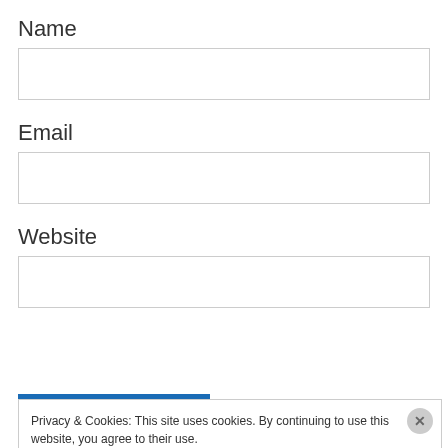Name
[Figure (screenshot): Empty text input field for Name]
Email
[Figure (screenshot): Empty text input field for Email]
Website
[Figure (screenshot): Empty text input field for Website]
Privacy & Cookies: This site uses cookies. By continuing to use this website, you agree to their use.
To find out more, including how to control cookies, see here: Cookie Policy
Close and accept